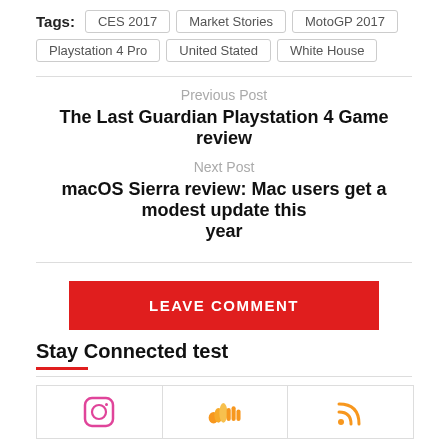Tags: CES 2017 | Market Stories | MotoGP 2017 | Playstation 4 Pro | United Stated | White House
Previous Post
The Last Guardian Playstation 4 Game review
Next Post
macOS Sierra review: Mac users get a modest update this year
LEAVE COMMENT
Stay Connected test
[Figure (other): Social media icons row: Instagram, SoundCloud, RSS]